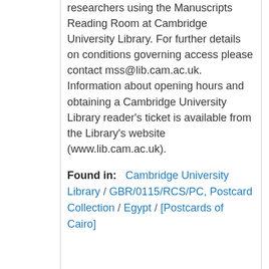researchers using the Manuscripts Reading Room at Cambridge University Library. For further details on conditions governing access please contact mss@lib.cam.ac.uk. Information about opening hours and obtaining a Cambridge University Library reader's ticket is available from the Library's website (www.lib.cam.ac.uk).
Found in: Cambridge University Library / GBR/0115/RCS/PC, Postcard Collection / Egypt / [Postcards of Cairo]